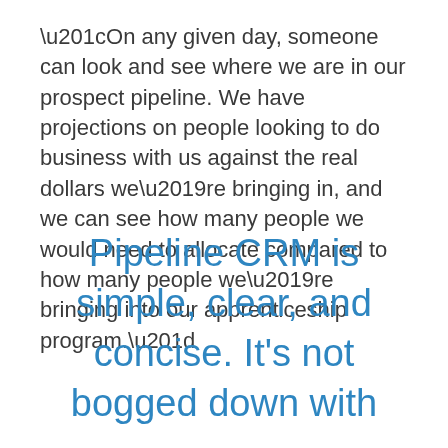“On any given day, someone can look and see where we are in our prospect pipeline. We have projections on people looking to do business with us against the real dollars we’re bringing in, and we can see how many people we would need to allocate compared to how many people we’re bringing into our apprenticeship program.”
Pipeline CRM is simple, clear, and concise. It’s not bogged down with